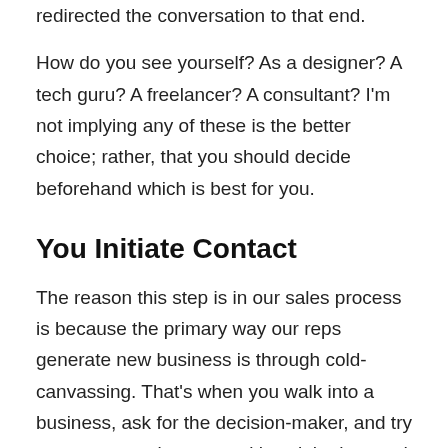redirected the conversation to that end.
How do you see yourself? As a designer? A tech guru? A freelancer? A consultant? I'm not implying any of these is the better choice; rather, that you should decide beforehand which is best for you.
You Initiate Contact
The reason this step is in our sales process is because the primary way our reps generate new business is through cold-canvassing. That's when you walk into a business, ask for the decision-maker, and try to get an appointment—either right then and there, or in the near future. (If that